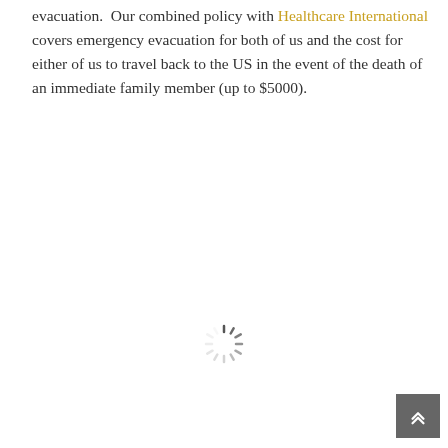evacuation.  Our combined policy with Healthcare International covers emergency evacuation for both of us and the cost for either of us to travel back to the US in the event of the death of an immediate family member (up to $5000).
[Figure (other): A loading spinner icon (circular dashed lines radiating from center, partially visible)]
[Figure (other): Back to top button — dark grey square with upward double chevron arrow icon]